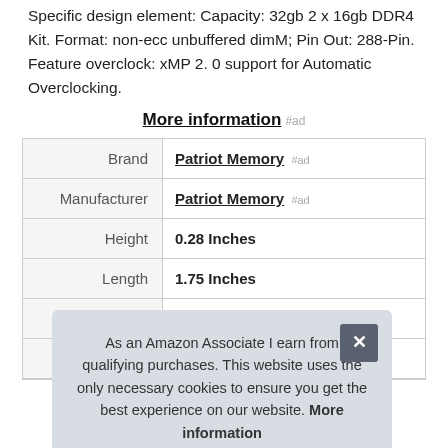Specific design element: Capacity: 32gb 2 x 16gb DDR4 Kit. Format: non-ecc unbuffered dimM; Pin Out: 288-Pin. Feature overclock: xMP 2. 0 support for Automatic Overclocking.
More information #ad
|  |  |
| --- | --- |
| Brand | Patriot Memory #ad |
| Manufacturer | Patriot Memory #ad |
| Height | 0.28 Inches |
| Length | 1.75 Inches |
| Width | 5.34 Inches |
| P |  |
As an Amazon Associate I earn from qualifying purchases. This website uses the only necessary cookies to ensure you get the best experience on our website. More information